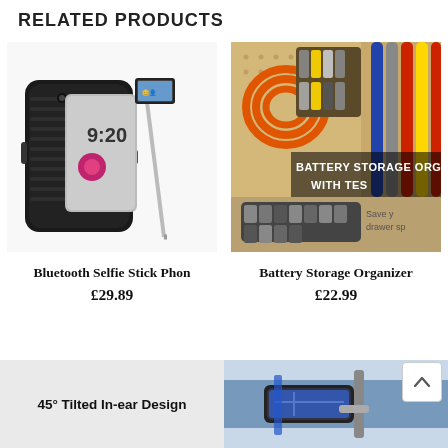RELATED PRODUCTS
[Figure (photo): Bluetooth selfie stick with phone case shown]
Bluetooth Selfie Stick Phon
£29.89
[Figure (photo): Battery storage organizer with tester on pegboard wall, showing various batteries organized in holders]
Battery Storage Organizer
£22.99
[Figure (photo): Product showing 45° Tilted In-ear Design text on grey background]
[Figure (photo): Car phone mount/holder product image partially visible]